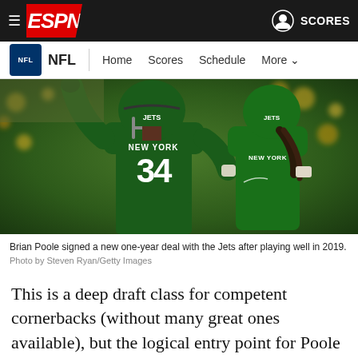ESPN — NFL | Home  Scores  Schedule  More  SCORES
[Figure (photo): Two New York Jets players in green uniforms celebrating on the field. Player #34 in the foreground raises his arms. A crowd is visible in the blurred background.]
Brian Poole signed a new one-year deal with the Jets after playing well in 2019.
Photo by Steven Ryan/Getty Images
This is a deep draft class for competent cornerbacks (without many great ones available), but the logical entry point for Poole was going to be something close to the four-year, $36 million deal Justin Coleman signed with the Lions last...